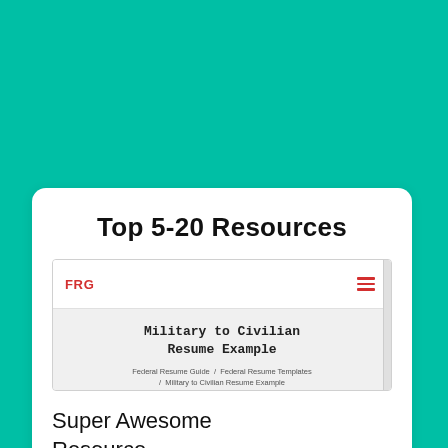Top 5-20 Resources
[Figure (screenshot): Screenshot of a Federal Resume Guide (FRG) website page showing a 'Military to Civilian Resume Example' article with breadcrumb navigation: Federal Resume Guide / Federal Resume Templates / Military to Civilian Resume Example]
Super Awesome Resource